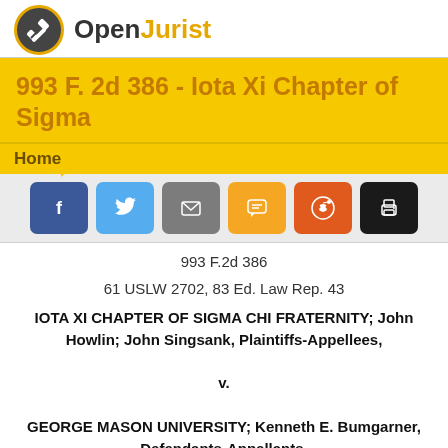OpenJurist
993 F. 2d 386 - Iota Xi Chapter of Sigma
Home
993 F.2d 386
61 USLW 2702, 83 Ed. Law Rep. 43
IOTA XI CHAPTER OF SIGMA CHI FRATERNITY; John Howlin; John Singsank, Plaintiffs-Appellees,
v.
GEORGE MASON UNIVERSITY; Kenneth E. Bumgarner, Defendants-Appellants.
No. 91-2684.